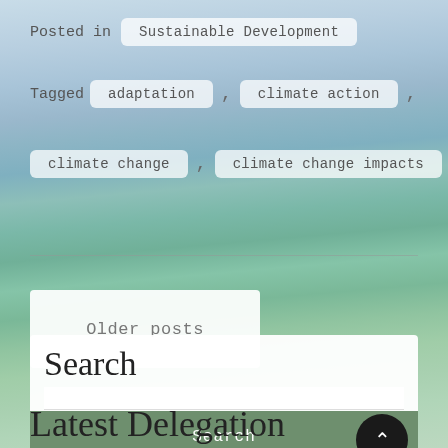Posted in  Sustainable Development
Tagged  adaptation ,  climate action ,  climate change ,  climate change impacts
Older posts
Search
Search
Latest Delegation